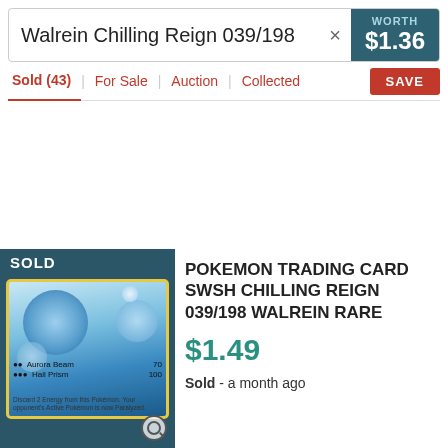Walrein Chilling Reign 039/198
WORTH $1.36
Sold (43) | For Sale | Auction | Collected | SAVE
[Figure (photo): Walrein Pokemon trading card image with SOLD badge overlay, showing card art with blue circular shapes, move names Aurora Beam (70) and Hail Prism (100), with a magnifying glass icon in the corner]
POKEMON TRADING CARD SWSH CHILLING REIGN 039/198 WALREIN RARE
$1.49
Sold - a month ago